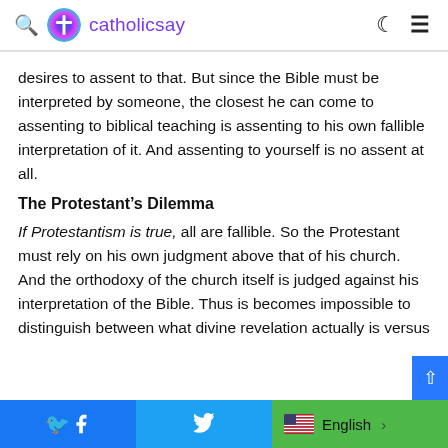catholicsay
desires to assent to that. But since the Bible must be interpreted by someone, the closest he can come to assenting to biblical teaching is assenting to his own fallible interpretation of it. And assenting to yourself is no assent at all.
The Protestant’s Dilemma
If Protestantism is true, all are fallible. So the Protestant must rely on his own judgment above that of his church. And the orthodoxy of the church itself is judged against his interpretation of the Bible. Thus is becomes impossible to distinguish between what divine revelation actually is versus
Facebook  Twitter  English